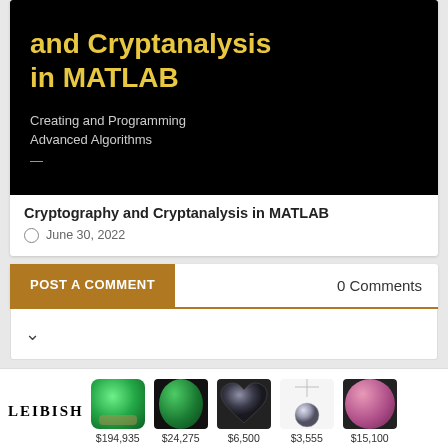[Figure (photo): Book cover for 'Cryptography and Cryptanalysis in MATLAB: Creating and Programming Advanced Algorithms' — black background with yellow bold title text and gray subtitle text]
Cryptography and Cryptanalysis in MATLAB
June 30, 2022
POST A COMMENT
0 Comments
[Figure (photo): LEIBISH jewelry advertisement showing five gemstones: emerald ring ($194,935), oval emerald ($24,275), heart-shaped dark diamond ($6,500), diamond pendant ($3,555), and pink diamond ($15,100)]